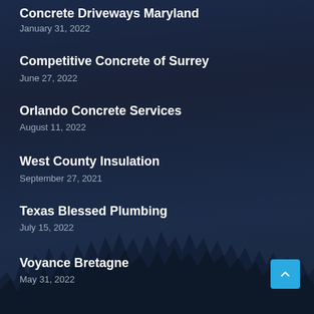Concrete Driveways Maryland
January 31, 2022
Competitive Concrete of Surrey
June 27, 2022
Orlando Concrete Services
August 11, 2022
West County Insulation
September 27, 2021
Texas Blessed Plumbing
July 15, 2022
Voyance Bretagne
May 31, 2022